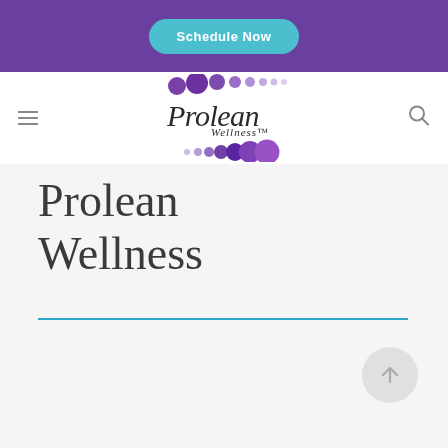Schedule Now
[Figure (logo): Prolean Wellness logo with purple dots and cursive/script text]
Prolean Wellness